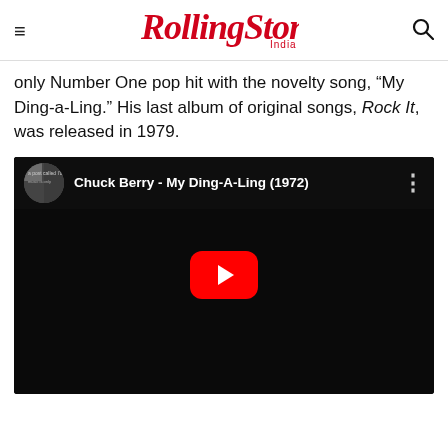Rolling Stone India
only Number One pop hit with the novelty song, “My Ding-a-Ling.” His last album of original songs, Rock It, was released in 1979.
[Figure (screenshot): YouTube video embed thumbnail showing Chuck Berry - My Ding-A-Ling (1972) with a black and white photo of Chuck Berry and a YouTube play button overlay]